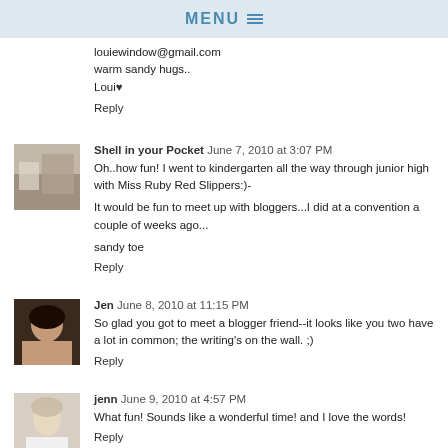MENU
louiewindow@gmail.com
warm sandy hugs..
Loui♥
Reply
Shell in your Pocket  June 7, 2010 at 3:07 PM
Oh..how fun! I went to kindergarten all the way through junior high with Miss Ruby Red Slippers:)-

It would be fun to meet up with bloggers...I did at a convention a couple of weeks ago...

sandy toe
Reply
Jen  June 8, 2010 at 11:15 PM
So glad you got to meet a blogger friend--it looks like you two have a lot in common; the writing's on the wall. ;)
Reply
jenn  June 9, 2010 at 4:57 PM
What fun! Sounds like a wonderful time! and I love the words!
Reply